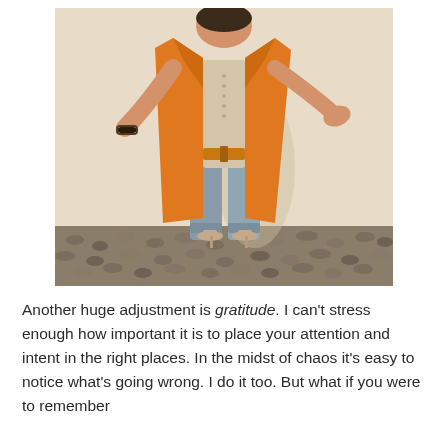[Figure (photo): A woman wearing an orange long open jacket/duster over a beige button-up top and cuffed blue jeans, with nude heels, standing on rough gravel ground against a cream/beige wall background. She is posing with one hand raised outward holding sunglasses.]
Another huge adjustment is gratitude. I can't stress enough how important it is to place your attention and intent in the right places. In the midst of chaos it's easy to notice what's going wrong. I do it too. But what if you were to remember